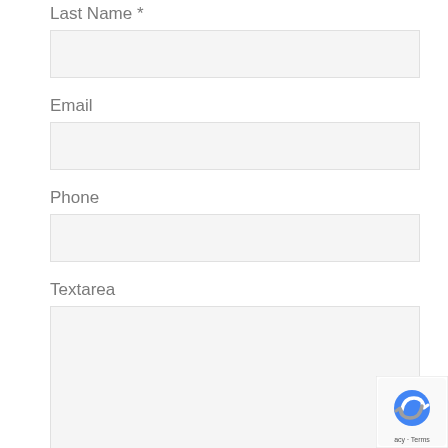Last Name *
Email
Phone
Textarea